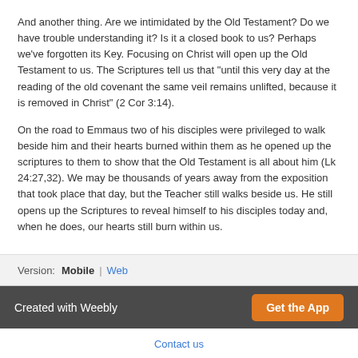And another thing. Are we intimidated by the Old Testament? Do we have trouble understanding it? Is it a closed book to us? Perhaps we've forgotten its Key. Focusing on Christ will open up the Old Testament to us. The Scriptures tell us that "until this very day at the reading of the old covenant the same veil remains unlifted, because it is removed in Christ" (2 Cor 3:14).
On the road to Emmaus two of his disciples were privileged to walk beside him and their hearts burned within them as he opened up the scriptures to them to show that the Old Testament is all about him (Lk 24:27,32). We may be thousands of years away from the exposition that took place that day, but the Teacher still walks beside us. He still opens up the Scriptures to reveal himself to his disciples today and, when he does, our hearts still burn within us.
Version: Mobile | Web
Created with Weebly   Get the App
Contact us